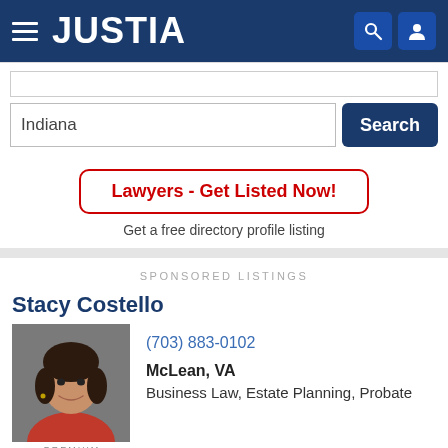JUSTIA
Indiana
Search
Lawyers - Get Listed Now!
Get a free directory profile listing
SPONSORED LISTINGS
Stacy Costello
[Figure (photo): Headshot photo of Stacy Costello, a woman with dark hair wearing a red top]
PREMIUM
(703) 883-0102
McLean, VA
Business Law, Estate Planning, Probate